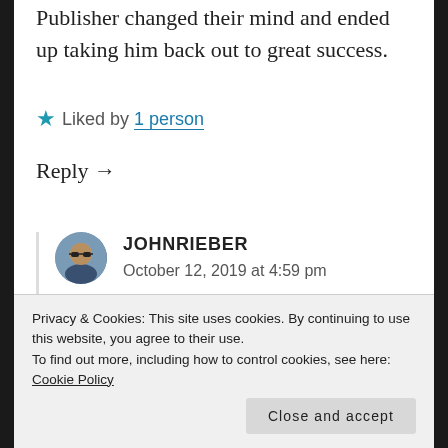Publisher changed their mind and ended up taking him back out to great success.
★ Liked by 1person
Reply →
JOHNRIEBER
October 12, 2019 at 4:59 pm

OK, the word was “publishing” NOT “punishing”, although that’s not really
Privacy & Cookies: This site uses cookies. By continuing to use this website, you agree to their use.
To find out more, including how to control cookies, see here: Cookie Policy
Close and accept